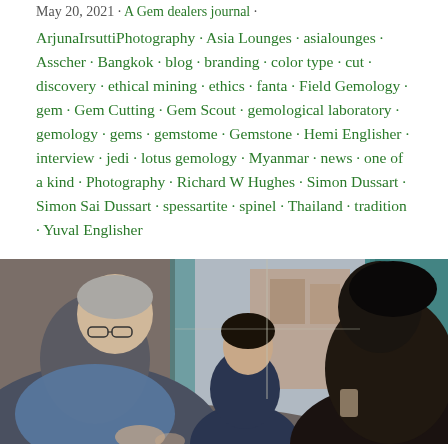May 20, 2021 · A Gem dealers journal ·
ArjunaIrsuttiPhotography · Asia Lounges · asialounges · Asscher · Bangkok · blog · branding · color type · cut · discovery · ethical mining · ethics · fanta · Field Gemology · gem · Gem Cutting · Gem Scout · gemological laboratory · gemology · gems · gemstome · Gemstone · Hemi Englisher · interview · jedi · lotus gemology · Myanmar · news · one of a kind · Photography · Richard W Hughes · Simon Dussart · Simon Sai Dussart · spessartite · spinel · Thailand · tradition · Yuval Englisher
[Figure (photo): A photograph of people seated at a table, likely a gem dealing or interview scene. An older man with glasses and grey hair sits on the left, a woman in blue sits in the center background near a bright window with teal curtains, and a person with dark hair is seen from behind on the right in silhouette.]